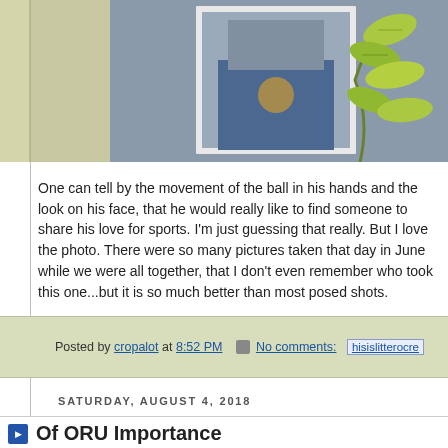[Figure (photo): Top portion of a blog post showing a photo of a person holding a ball with decorative plant leaves on a textured green-tan background]
One can tell by the movement of the ball in his hands and the look on his face, that he would really like to find someone to share his love for sports. I'm just guessing that really. But I love the photo. There were so many pictures taken that day in June while we were all together, that I don't even remember who took this one...but it is so much better than most posed shots.
Love you, Caleb.
Posted by cropalot at 8:52 PM   No comments:    hisislitterocre
SATURDAY, AUGUST 4, 2018
Of ORU Importance